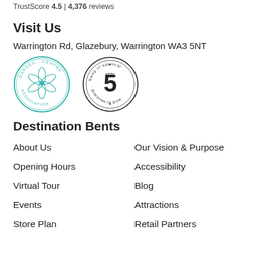TrustScore 4.5 | 4,376 reviews
Visit Us
Warrington Rd, Glazebury, Warrington WA3 5NT
[Figure (logo): Garden Centre Association circular badge logo in teal, and a '5 year guarantee to grow - Ramp of approval' circular stamp badge]
Destination Bents
About Us
Our Vision & Purpose
Opening Hours
Accessibility
Virtual Tour
Blog
Events
Attractions
Store Plan
Retail Partners